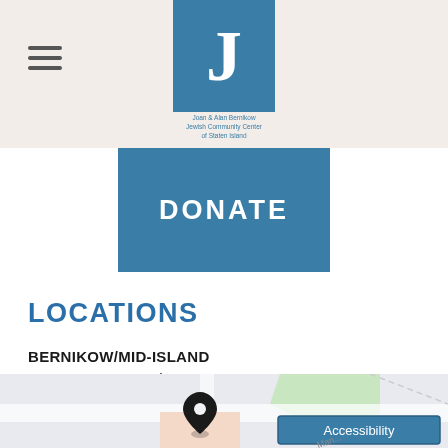Joan & Alan Bernikow Jewish Community Center of Staten Island
[Figure (logo): Blue square logo with white letter J and text 'Joan & Alan Bernikow Jewish Community Center of Staten Island']
[Figure (other): DONATE button — teal/blue rectangle with white bold text DONATE]
LOCATIONS
BERNIKOW/MID-ISLAND
1466 Manor Road
Staten Island, NY 10314
718.475.5200
[Figure (map): Street map showing location pin at 1466 Manor Road, Staten Island with Accessibility overlay button]